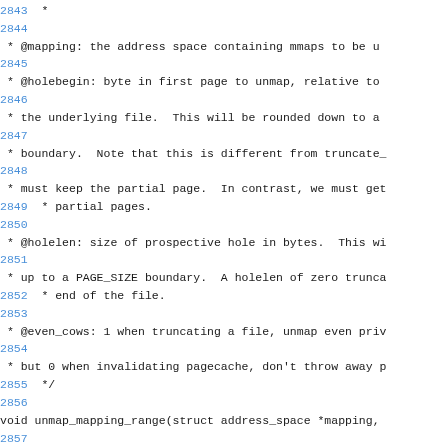2842 [truncated]
2843  *
2844
 * @mapping: the address space containing mmaps to be u
2845
 * @holebegin: byte in first page to unmap, relative to
2846
 * the underlying file.  This will be rounded down to a
2847
 * boundary.  Note that this is different from truncate_
2848
 * must keep the partial page.  In contrast, we must get
2849  * partial pages.
2850
 * @holelen: size of prospective hole in bytes.  This wi
2851
 * up to a PAGE_SIZE boundary.  A holelen of zero trunca
2852  * end of the file.
2853
 * @even_cows: 1 when truncating a file, unmap even priv
2854
 * but 0 when invalidating pagecache, don't throw away p
2855  */
2856
void unmap_mapping_range(struct address_space *mapping,
2857